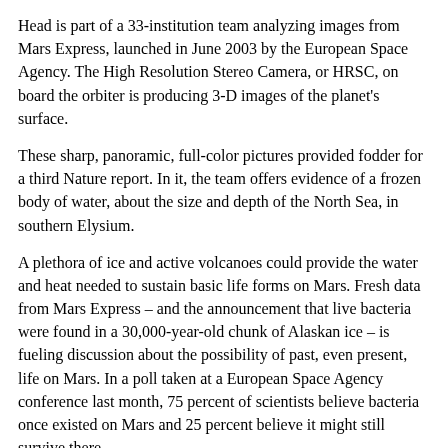Head is part of a 33-institution team analyzing images from Mars Express, launched in June 2003 by the European Space Agency. The High Resolution Stereo Camera, or HRSC, on board the orbiter is producing 3-D images of the planet's surface.
These sharp, panoramic, full-color pictures provided fodder for a third Nature report. In it, the team offers evidence of a frozen body of water, about the size and depth of the North Sea, in southern Elysium.
A plethora of ice and active volcanoes could provide the water and heat needed to sustain basic life forms on Mars. Fresh data from Mars Express – and the announcement that live bacteria were found in a 30,000-year-old chunk of Alaskan ice – is fueling discussion about the possibility of past, even present, life on Mars. In a poll taken at a European Space Agency conference last month, 75 percent of scientists believe bacteria once existed on Mars and 25 percent believe it might still survive there.
Head recently traveled to Antarctica to study glaciers, including bacteria that can withstand the continent's dry, cold conditions. The average temperature on Mars is estimated to be 67 degrees below freezing. Similar temperatures are clocked in Antarctica's frigid interior.
“It has a resemblance to Antarctica. On Mars, there could be…